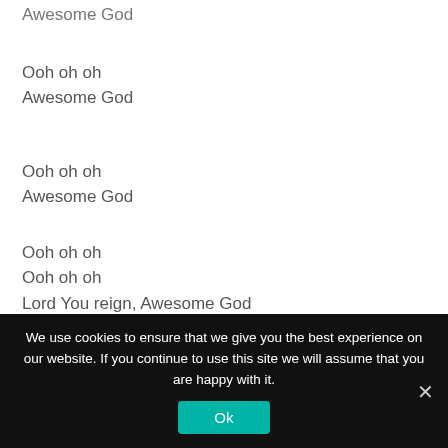Awesome God
Ooh oh oh
Awesome God
Ooh oh oh
Awesome God
Ooh oh oh
Ooh oh oh
Lord You reign, Awesome God
Ooh oh oh
We use cookies to ensure that we give you the best experience on our website. If you continue to use this site we will assume that you are happy with it.